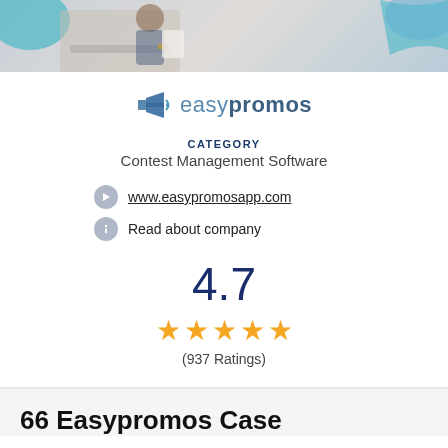[Figure (photo): Banner photo showing a person at a desk with teal/blue decorative shapes]
[Figure (logo): Easypromos logo — megaphone icon with 'easypromos' text in blue-grey]
CATEGORY
Contest Management Software
www.easypromosapp.com
Read about company
4.7
[Figure (infographic): 5 orange star rating icons]
(937 Ratings)
66 Easypromos Case